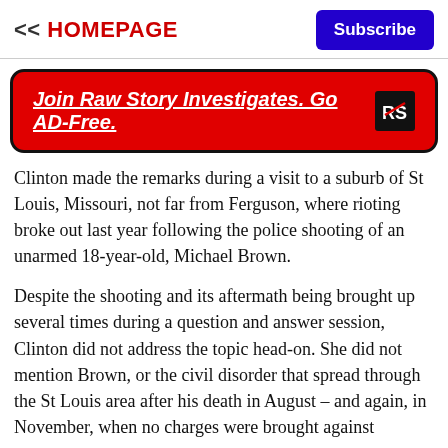<< HOMEPAGE | Subscribe
[Figure (other): Red banner advertisement reading 'Join Raw Story Investigates. Go AD-Free.' with RS logo]
Clinton made the remarks during a visit to a suburb of St Louis, Missouri, not far from Ferguson, where rioting broke out last year following the police shooting of an unarmed 18-year-old, Michael Brown.
Despite the shooting and its aftermath being brought up several times during a question and answer session, Clinton did not address the topic head-on. She did not mention Brown, or the civil disorder that spread through the St Louis area after his death in August – and again, in November, when no charges were brought against Brown. When the officer who shot Brown...